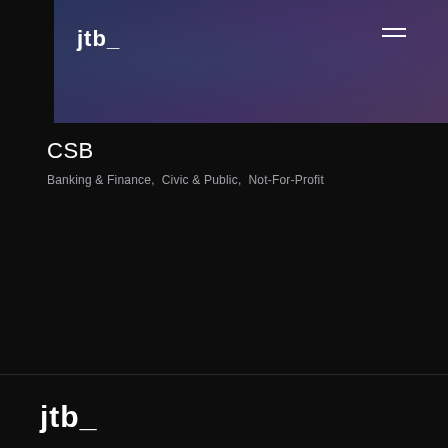[Figure (photo): Hero banner image showing clothing/retail environment with blue-purple color overlay gradient, jtb_ logo top-left and hamburger menu top-right]
CSB
Banking & Finance,  Civic & Public,  Not-For-Profit
View all projects
jtb_